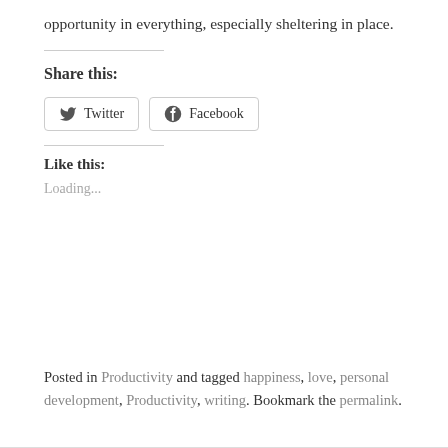opportunity in everything, especially sheltering in place.
Share this:
[Figure (other): Social share buttons for Twitter and Facebook]
Like this:
Loading...
Posted in Productivity and tagged happiness, love, personal development, Productivity, writing. Bookmark the permalink.